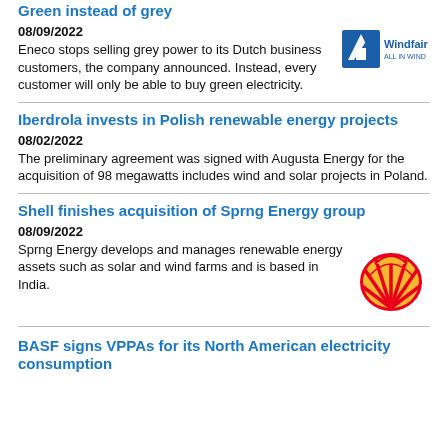Green instead of grey
08/09/2022
Eneco stops selling grey power to its Dutch business customers, the company announced. Instead, every customer will only be able to buy green electricity.
[Figure (logo): Windfair ALL IN WIND logo — blue triangle/arrow shape with text]
Iberdrola invests in Polish renewable energy projects
08/02/2022
The preliminary agreement was signed with Augusta Energy for the acquisition of 98 megawatts includes wind and solar projects in Poland.
Shell finishes acquisition of Sprng Energy group
08/09/2022
Sprng Energy develops and manages renewable energy assets such as solar and wind farms and is based in India.
[Figure (logo): Shell pecten logo — red and yellow shell emblem]
BASF signs VPPAs for its North American electricity consumption